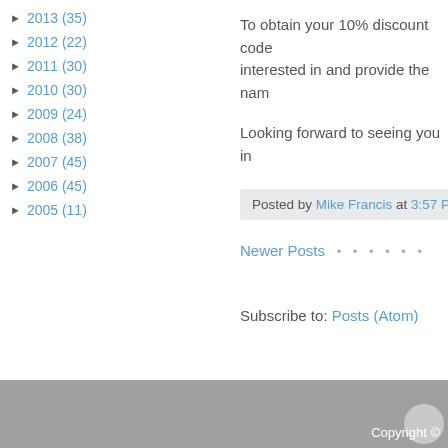► 2013 (35)
► 2012 (22)
► 2011 (30)
► 2010 (30)
► 2009 (24)
► 2008 (38)
► 2007 (45)
► 2006 (45)
► 2005 (11)
To obtain your 10% discount code interested in and provide the nam
Looking forward to seeing you in
Posted by Mike Francis at 3:57 PM
Newer Posts • • • • • •
Subscribe to: Posts (Atom)
Copyright ©